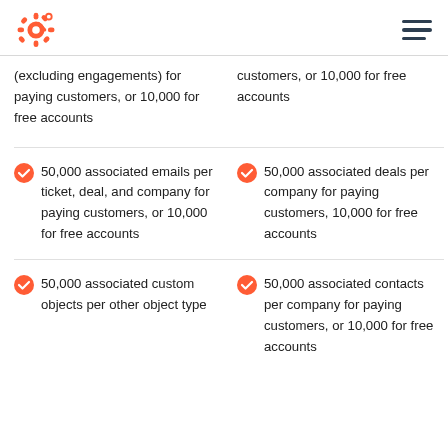HubSpot logo and menu
(excluding engagements) for paying customers, or 10,000 for free accounts
customers, or 10,000 for free accounts
50,000 associated emails per ticket, deal, and company for paying customers, or 10,000 for free accounts
50,000 associated deals per company for paying customers, 10,000 for free accounts
50,000 associated custom objects per other object type
50,000 associated contacts per company for paying customers, or 10,000 for free accounts